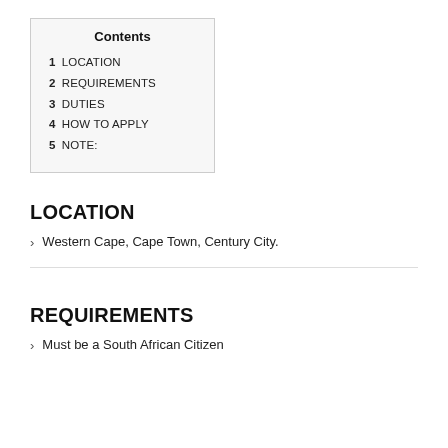| Contents |
| --- |
| 1 LOCATION |
| 2 REQUIREMENTS |
| 3 DUTIES |
| 4 HOW TO APPLY |
| 5 NOTE: |
LOCATION
Western Cape, Cape Town, Century City.
REQUIREMENTS
Must be a South African Citizen